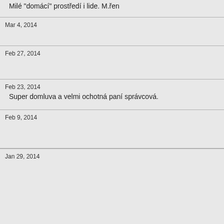Milé "domácí" prostředí i lide. M.řen
Mar 4, 2014
Feb 27, 2014
Feb 23, 2014
Super domluva a velmi ochotná paní správcová.
Feb 9, 2014
Jan 29, 2014